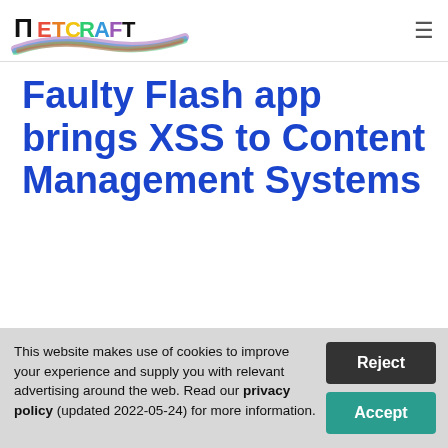Netcraft
Faulty Flash app brings XSS to Content Management Systems
This website makes use of cookies to improve your experience and supply you with relevant advertising around the web. Read our privacy policy (updated 2022-05-24) for more information.